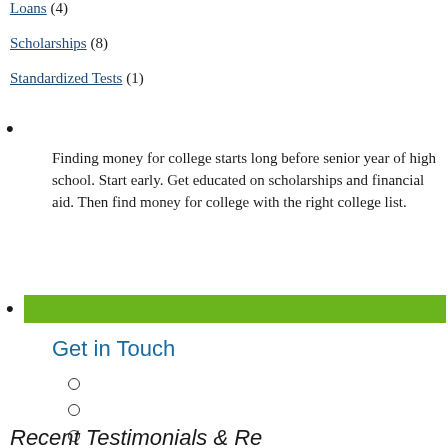Loans (4)
Scholarships (8)
Standardized Tests (1)
Finding money for college starts long before senior year of high school. Start early. Get educated on scholarships and financial aid. Then find money for college with the right college list.
Get in Touch
Recent Testimonials &amp; Resources